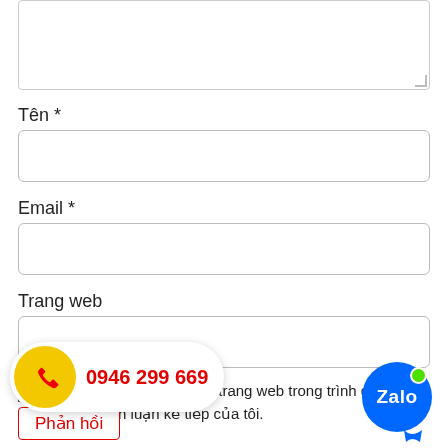[Figure (screenshot): Textarea input box at top of form, partially visible, with resize handle in bottom-right corner]
Tên *
[Figure (screenshot): Text input field for Tên (Name)]
Email *
[Figure (screenshot): Text input field for Email]
Trang web
[Figure (screenshot): Text input field for Trang web (Website)]
[Figure (screenshot): Checkbox input]
Lưu tên của tôi, email, và trang web trong trình duyệt này cho lần bình luận kế tiếp của tôi.
[Figure (infographic): Phone bubble showing 0946 299 669 with yellow circle phone icon, and Phản hồi button below it]
[Figure (logo): Zalo blue circle logo with green dot in top right and speech bubble tail]